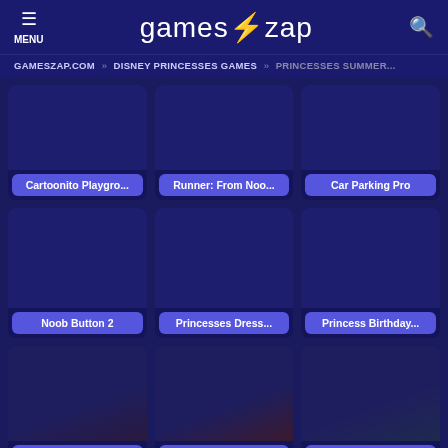MENU | games⚡zap
GAMESZAP.COM » DISNEY PRINCESSES GAMES » PRINCESSES SUMMER...
[Figure (screenshot): Game card thumbnail for Cartoonito Playgrounds]
Cartoonito Playgro...
[Figure (screenshot): Game card thumbnail for Runner: From Noo...]
Runner: From Noo...
[Figure (screenshot): Game card thumbnail for Car Parking Pro]
Car Parking Pro
[Figure (screenshot): Game card thumbnail for Noob Button 2]
Noob Button 2
[Figure (screenshot): Game card thumbnail for Princesses Dress...]
Princesses Dress...
[Figure (screenshot): Game card thumbnail for Princess Birthday...]
Princess Birthday...
[Figure (screenshot): Game card thumbnail for Princesses Fashio...]
Princesses Fashio...
[Figure (screenshot): Game card thumbnail for Princesses 2018...]
Princesses 2018...
[Figure (screenshot): Game card thumbnail for Summer Midi Skirt...]
Summer Midi Skirt...